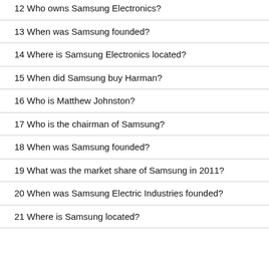12 Who owns Samsung Electronics?
13 When was Samsung founded?
14 Where is Samsung Electronics located?
15 When did Samsung buy Harman?
16 Who is Matthew Johnston?
17 Who is the chairman of Samsung?
18 When was Samsung founded?
19 What was the market share of Samsung in 2011?
20 When was Samsung Electric Industries founded?
21 Where is Samsung located?